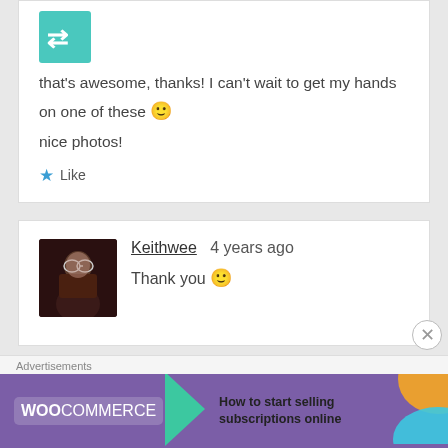[Figure (illustration): Teal/turquoise avatar icon with arrows in top-left corner]
that's awesome, thanks! I can't wait to get my hands on one of these 🙂 nice photos!
★ Like
[Figure (photo): Profile photo of a person wearing glasses, smiling, dark background]
Keithwee  4 years ago
Thank you 🙂
Advertisements
[Figure (screenshot): WooCommerce advertisement banner: purple background with WooCommerce logo, arrow shape, text 'How to start selling subscriptions online', orange and teal decorative shapes]